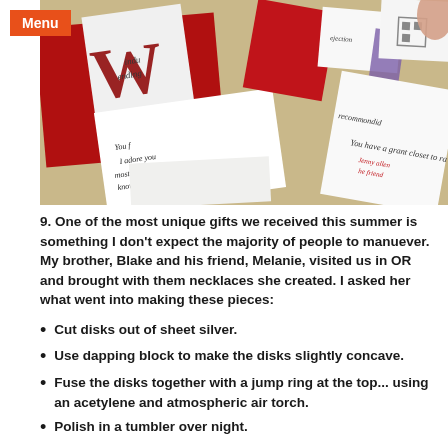[Figure (photo): Scattered handwritten notes and cards on a table, with cursive writing visible on various white cards and papers, some red elements visible]
9. One of the most unique gifts we received this summer is something I don't expect the majority of people to manuever. My brother, Blake and his friend, Melanie, visited us in OR and brought with them necklaces she created. I asked her what went into making these pieces:
Cut disks out of sheet silver.
Use dapping block to make the disks slightly concave.
Fuse the disks together with a jump ring at the top... using an acetylene and atmospheric air torch.
Polish in a tumbler over night.
Have Blake write monograms over and over and over and